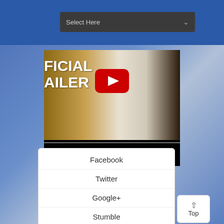[Figure (screenshot): Dropdown selector with 'Select Here' placeholder text on dark background bar]
[Figure (screenshot): YouTube video thumbnail showing two people walking, with large play button and text 'FICIAL AILER' (Official Trailer) partially visible]
Facebook
Twitter
Google+
Stumble
[Figure (screenshot): Top button with upward arrow]